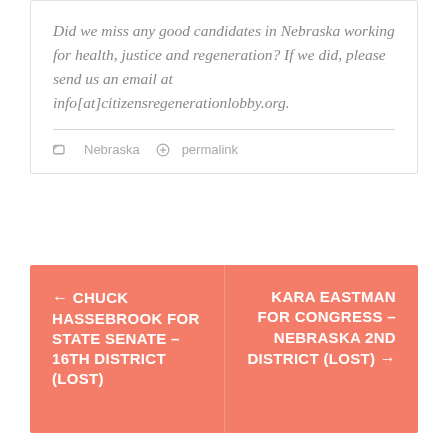Did we miss any good candidates in Nebraska working for health, justice and regeneration? If we did, please send us an email at info[at]citizensregenerationlobby.org.
Nebraska  permalink
← CHUCK HASSEBROOK FOR STATE SENATE – 16TH DISTRICT (LOST)
KARA EASTMAN FOR CONGRESS – NEBRASKA 2ND DISTRICT (LOST) →